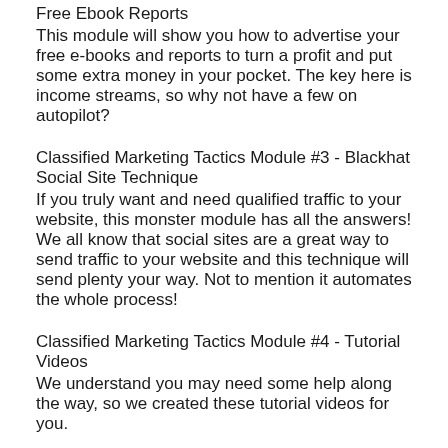Free Ebook Reports
This module will show you how to advertise your free e-books and reports to turn a profit and put some extra money in your pocket. The key here is income streams, so why not have a few on autopilot?
Classified Marketing Tactics Module #3 - Blackhat Social Site Technique
If you truly want and need qualified traffic to your website, this monster module has all the answers! We all know that social sites are a great way to send traffic to your website and this technique will send plenty your way. Not to mention it automates the whole process!
Classified Marketing Tactics Module #4 - Tutorial Videos
We understand you may need some help along the way, so we created these tutorial videos for you.